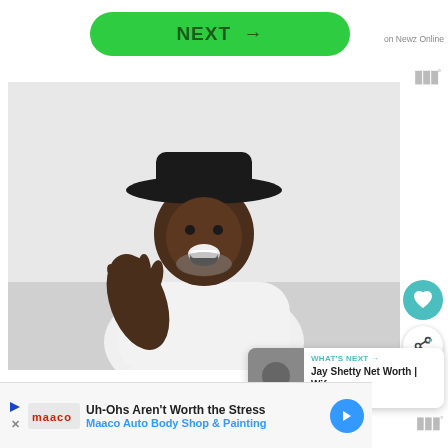[Figure (screenshot): Green NEXT button with arrow, label 'on Newz Online' to the right]
[Figure (photo): Black and white photograph of a man wearing a wide-brimmed hat, laughing with hand raised, dressed in a white jacket]
[Figure (screenshot): Heart/favorite button (teal circle with white heart icon)]
[Figure (screenshot): Share button (white circle with share icon)]
[Figure (screenshot): What's Next card showing Jay Shetty Net Worth | Wife... thumbnail and label]
Uh-Ohs Aren't Worth the Stress
Maaco Auto Body Shop & Painting